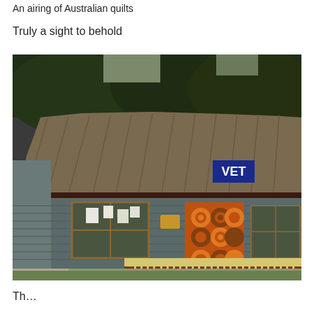An airing of Australian quilts
Truly a sight to behold
[Figure (photo): Photograph of a heritage-style weatherboard building with a corrugated iron roof, housing Bearwood Veterinary Surgery. A colourful patchwork quilt in orange and brown is hanging from the front porch railing. A blue 'VET' sign is visible under the roofline. Trees are visible behind the building.]
Th…